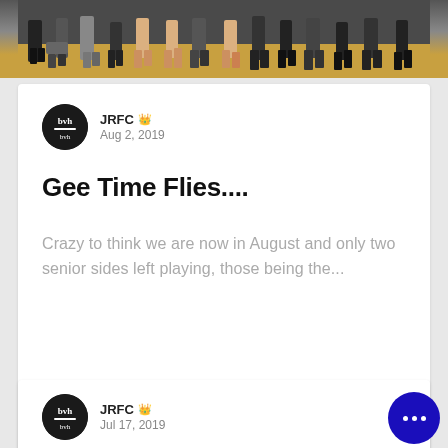[Figure (photo): Top portion of a photograph showing people seated in chairs, only their legs and feet visible, on a wooden floor background.]
JRFC 👑
Aug 2, 2019
Gee Time Flies....
Crazy to think we are now in August and only two senior sides left playing, those being the...
468   0
JRFC 👑
Jul 17, 2019